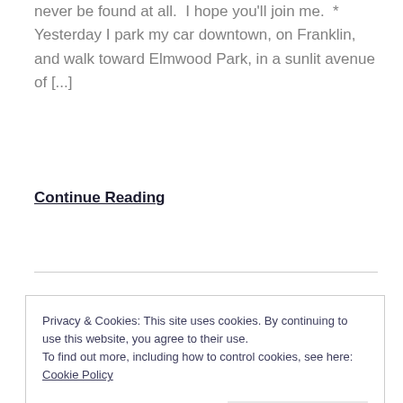never be found at all.  I hope you'll join me.  * Yesterday I park my car downtown, on Franklin, and walk toward Elmwood Park, in a sunlit avenue of [...]
Continue Reading
Privacy & Cookies: This site uses cookies. By continuing to use this website, you agree to their use.
To find out more, including how to control cookies, see here: Cookie Policy